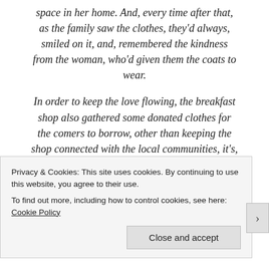space in her home. And, every time after that, as the family saw the clothes, they'd always, smiled on it, and, remembered the kindness from the woman, who'd given them the coats to wear.
In order to keep the love flowing, the breakfast shop also gathered some donated clothes for the comers to borrow, other than keeping the shop connected with the local communities, it's, a way of repaying the woman for her kindness. As I'd heard, I thought, maybe I can write this tale down, or maybe, by chance, that kindhearted woman that the family met in
Privacy & Cookies: This site uses cookies. By continuing to use this website, you agree to their use.
To find out more, including how to control cookies, see here: Cookie Policy
Close and accept